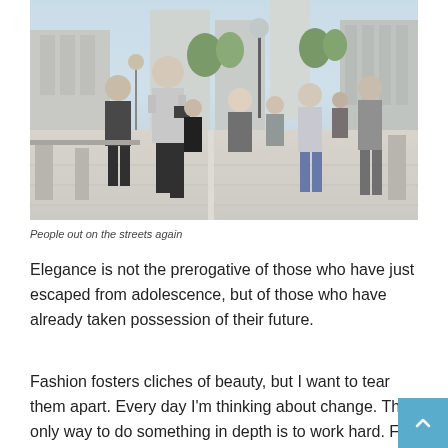[Figure (photo): Group of people walking on a city sidewalk/plaza, with buildings, trees, and a street lamp visible in the background. Man in foreground wearing grey t-shirt and black shorts holding a camera.]
People out on the streets again
Elegance is not the prerogative of those who have just escaped from adolescence, but of those who have already taken possession of their future.
Fashion fosters cliches of beauty, but I want to tear them apart. Every day I'm thinking about change. The only way to do something in depth is to work hard. For me, art is about